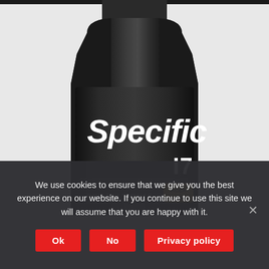[Figure (photo): Close-up photograph of a dark/black motor oil bottle labeled 'Specific I7' with ACEA C3 badge and RENAULT RN17 text, showing the front label on a black metallic bottle.]
We use cookies to ensure that we give you the best experience on our website. If you continue to use this site we will assume that you are happy with it.
Ok
No
Privacy policy